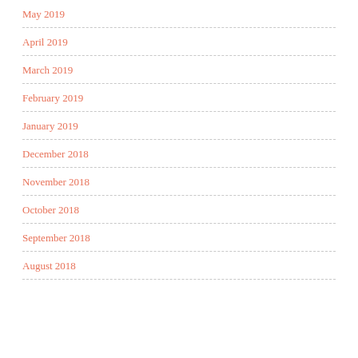May 2019
April 2019
March 2019
February 2019
January 2019
December 2018
November 2018
October 2018
September 2018
August 2018